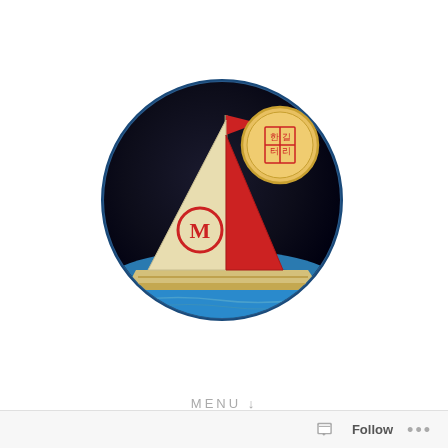[Figure (logo): Circular logo with a sailboat on dark blue/black background. The sailboat has a large red triangular sail and a cream/beige hull. A red flag is at the top of the mast. A red circle with the letter M is on the sail. An orange/gold circular seal with Korean or decorative characters appears in the upper right of the circle.]
MENU ↓
TAG: AND
Follow ...